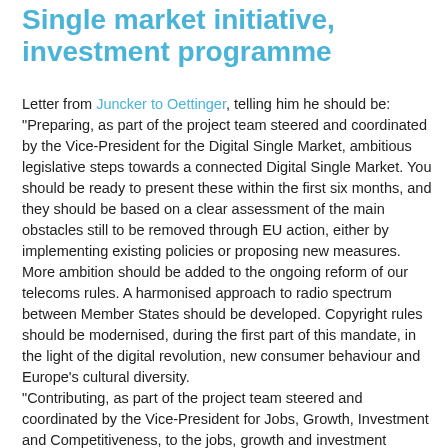Single market initiative, investment programme
Letter from Juncker to Oettinger, telling him he should be: "Preparing, as part of the project team steered and coordinated by the Vice-President for the Digital Single Market, ambitious legislative steps towards a connected Digital Single Market. You should be ready to present these within the first six months, and they should be based on a clear assessment of the main obstacles still to be removed through EU action, either by implementing existing policies or proposing new measures. More ambition should be added to the ongoing reform of our telecoms rules. A harmonised approach to radio spectrum between Member States should be developed. Copyright rules should be modernised, during the first part of this mandate, in the light of the digital revolution, new consumer behaviour and Europe's cultural diversity.
"Contributing, as part of the project team steered and coordinated by the Vice-President for Jobs, Growth, Investment and Competitiveness, to the jobs, growth and investment package to be presented within the first three